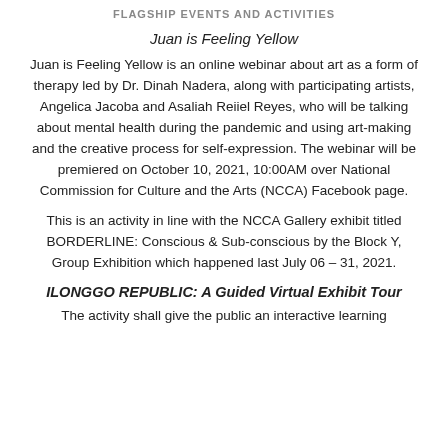FLAGSHIP EVENTS AND ACTIVITIES
Juan is Feeling Yellow
Juan is Feeling Yellow is an online webinar about art as a form of therapy led by Dr. Dinah Nadera, along with participating artists, Angelica Jacoba and Asaliah Reiiel Reyes, who will be talking about mental health during the pandemic and using art-making and the creative process for self-expression. The webinar will be premiered on October 10, 2021, 10:00AM over National Commission for Culture and the Arts (NCCA) Facebook page.
This is an activity in line with the NCCA Gallery exhibit titled BORDERLINE: Conscious & Sub-conscious by the Block Y, Group Exhibition which happened last July 06 – 31, 2021.
ILONGGO REPUBLIC: A Guided Virtual Exhibit Tour
The activity shall give the public an interactive learning